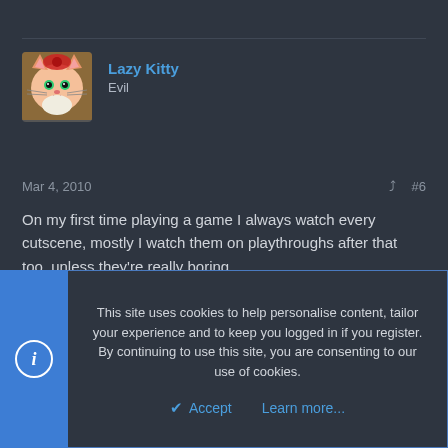[Figure (illustration): Avatar of user Lazy Kitty: cartoon cat with orange/white fur and red accessories]
Lazy Kitty
Evil
Mar 4, 2010
#6
On my first time playing a game I always watch every cutscene, mostly I watch them on playthroughs after that too, unless they're really boring.
[Figure (illustration): Avatar of user CheckD3: gold letter Y on dark background]
CheckD3
New member
This site uses cookies to help personalise content, tailor your experience and to keep you logged in if you register.
By continuing to use this site, you are consenting to our use of cookies.
Accept
Learn more...